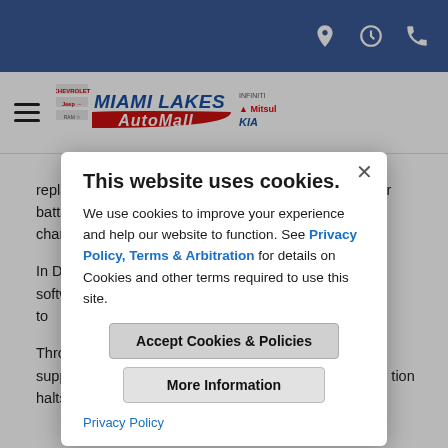Miami Lakes AutoMall website header with navigation icons (location, clock, phone)
[Figure (logo): Miami Lakes AutoMall logo with hamburger menu]
replaced, the company instructed drivers to lessen their battery capacity to 90 percent, keeping the battery charged to 70 miles their vehicles
In Dec a software charge limit to rging overnight
Through e to supply replace tion halts f on
This website uses cookies.

We use cookies to improve your experience and help our website to function. See Privacy Policy, Terms & Arbitration for details on Cookies and other terms required to use this site.
Accept Cookies & Policies
More Information
Privacy Policy